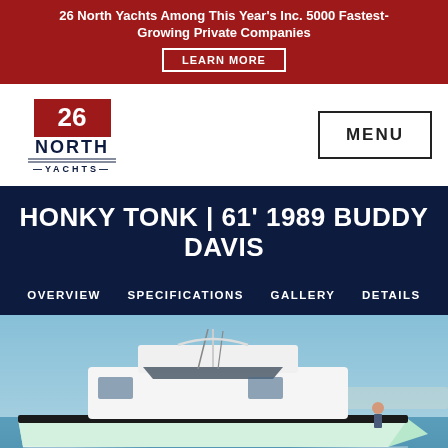26 North Yachts Among This Year's Inc. 5000 Fastest-Growing Private Companies — LEARN MORE
[Figure (logo): 26 North Yachts logo — red flag with '26', bold 'NORTH' text, 'YACHTS' subtitle]
HONKY TONK | 61' 1989 BUDDY DAVIS
OVERVIEW   SPECIFICATIONS   GALLERY   DETAILS
[Figure (photo): Photo of a white and seafoam green sport fishing yacht (Honky Tonk, 61ft 1989 Buddy Davis) on blue water with a clear sky background]